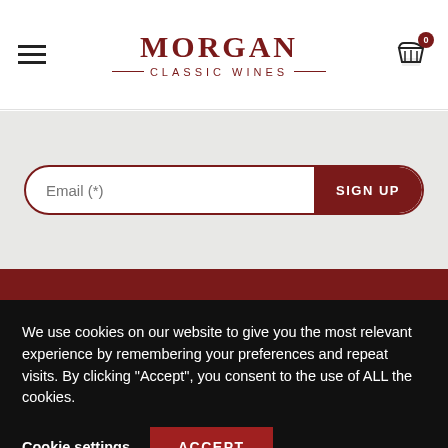[Figure (logo): Morgan Classic Wines logo with hamburger menu on left and shopping cart icon with badge '0' on right]
[Figure (screenshot): Email sign-up form with 'Email (*)' placeholder input and dark red 'SIGN UP' button, all on a light gray background]
We use cookies on our website to give you the most relevant experience by remembering your preferences and repeat visits. By clicking “Accept”, you consent to the use of ALL the cookies.
Cookie settings
ACCEPT